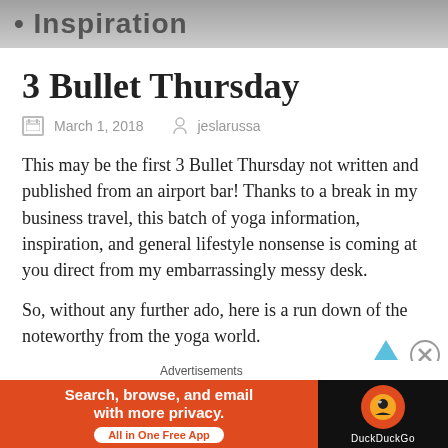Inspiration
3 Bullet Thursday
March 1, 2018   jeslarussa
This may be the first 3 Bullet Thursday not written and published from an airport bar! Thanks to a break in my business travel, this batch of yoga information, inspiration, and general lifestyle nonsense is coming at you direct from my embarrassingly messy desk.
So, without any further ado, here is a run down of the noteworthy from the yoga world.
Advertisements
[Figure (screenshot): DuckDuckGo advertisement banner: orange background with text 'Search, browse, and email with more privacy. All in One Free App' and DuckDuckGo logo on dark right panel]